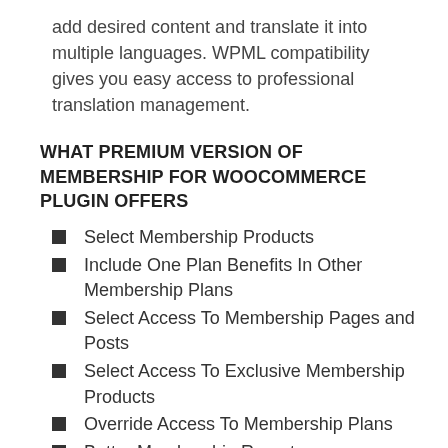add desired content and translate it into multiple languages. WPML compatibility gives you easy access to professional translation management.
WHAT PREMIUM VERSION OF MEMBERSHIP FOR WOOCOMMERCE PLUGIN OFFERS
Select Membership Products
Include One Plan Benefits In Other Membership Plans
Select Access To Membership Pages and Posts
Select Access To Exclusive Membership Products
Override Access To Membership Plans
Better Membership Reports
Send Membership Plans Action Notifications via Email
Sort Membership plans
Attach an invoice to membership emails
Login/signup button on thank you page for